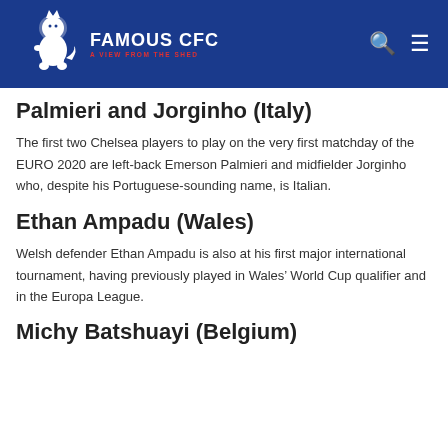FAMOUS CFC — A VIEW FROM THE SHED
Palmieri and Jorginho (Italy)
The first two Chelsea players to play on the very first matchday of the EURO 2020 are left-back Emerson Palmieri and midfielder Jorginho who, despite his Portuguese-sounding name, is Italian.
Ethan Ampadu (Wales)
Welsh defender Ethan Ampadu is also at his first major international tournament, having previously played in Wales’ World Cup qualifier and in the Europa League.
Michy Batshuayi (Belgium)